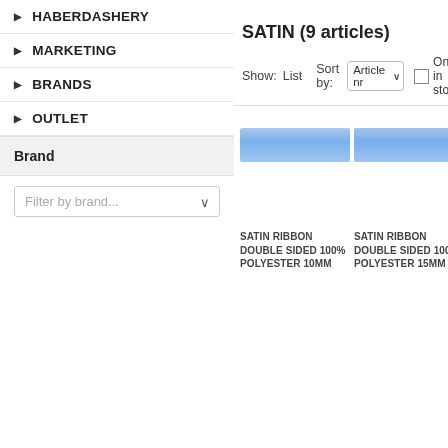HABERDASHERY
MARKETING
BRANDS
OUTLET
Brand
Filter by brand...
SATIN (9 articles)
Show: List   Sort by: Article nr   Only in stock
[Figure (photo): Light blue satin ribbon, double sided, 10mm width]
SATIN RIBBON DOUBLE SIDED 100% POLYESTER 10MM
[Figure (photo): Light blue satin ribbon, double sided, 15mm width]
SATIN RIBBON DOUBLE SIDED 100% POLYESTER 15MM
[Figure (photo): Dark blue satin ribbon, double sided, partially visible]
SATIN RIBBON DOUBLE SIDED POLYESTER